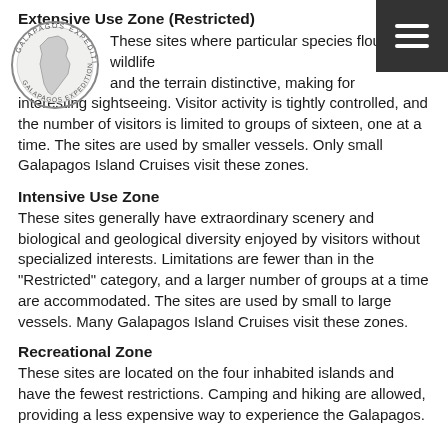Extensive Use Zone (Restricted)
[Figure (logo): Circular logo with a map of South America and text around the border reading 'GALAPAGOS EXPEDITIONS' or similar]
These sites where particular species flourish, wildlife and the terrain distinctive, making for interesting sightseeing. Visitor activity is tightly controlled, and the number of visitors is limited to groups of sixteen, one at a time. The sites are used by smaller vessels. Only small Galapagos Island Cruises visit these zones.
Intensive Use Zone
These sites generally have extraordinary scenery and biological and geological diversity enjoyed by visitors without specialized interests. Limitations are fewer than in the "Restricted" category, and a larger number of groups at a time are accommodated. The sites are used by small to large vessels. Many Galapagos Island Cruises visit these zones.
Recreational Zone
These sites are located on the four inhabited islands and have the fewest restrictions. Camping and hiking are allowed, providing a less expensive way to experience the Galapagos.